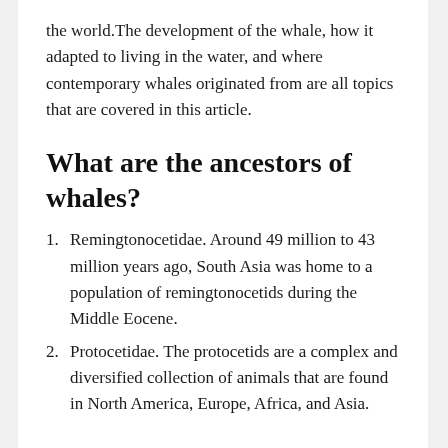the world.The development of the whale, how it adapted to living in the water, and where contemporary whales originated from are all topics that are covered in this article.
What are the ancestors of whales?
Remingtonocetidae. Around 49 million to 43 million years ago, South Asia was home to a population of remingtonocetids during the Middle Eocene.
Protocetidae. The protocetids are a complex and diversified collection of animals that are found in North America, Europe, Africa, and Asia.